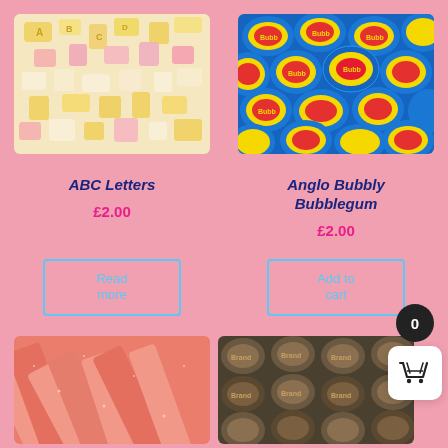[Figure (photo): ABC Letters candy - colorful letter-shaped sweets in yellow, pink, and white]
[Figure (photo): Anglo Bubbly Bubblegum - blue wrapped bubble gum pieces]
ABC Letters
£2.00
Anglo Bubbly Bubblegum
£2.00
Read more
Add to cart
[Figure (photo): Pink/peach sour belt candy strips with sugar coating]
[Figure (photo): Dark candy rolls with brand logo repeated pattern]